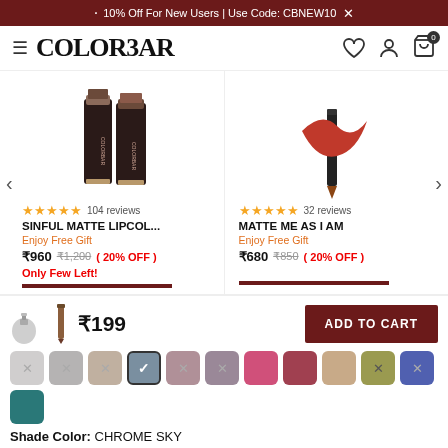10% Off For New Users | Use Code: CBNEW10
[Figure (logo): Colorbar logo with hamburger menu]
[Figure (photo): Sinful Matte Lipcolor product image - two dark brown lipstick tubes]
★★★★★ 104 reviews
SINFUL MATTE LIPCOL...
Enjoy Free Gift
₹960  ₹1,200  ( 20% OFF )
Only Few Left!
[Figure (photo): Matte Me As I Am product image - lip liner/pencil]
★★★★★ 32 reviews
MATTE ME AS I AM
Enjoy Free Gift
₹680  ₹850  ( 20% OFF )
[Figure (photo): Small product thumbnail icons]
₹199
ADD TO CART
Shade Color: CHROME SKY